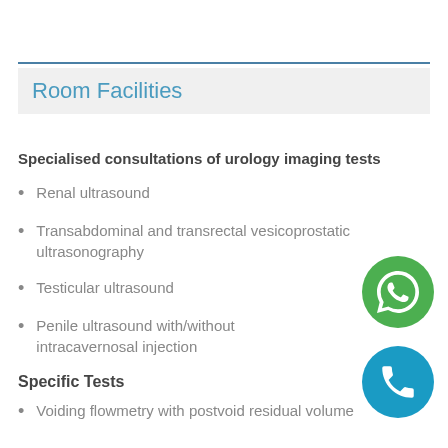Room Facilities
Specialised consultations of urology imaging tests
Renal ultrasound
Transabdominal and transrectal vesicoprostatic ultrasonography
Testicular ultrasound
Penile ultrasound with/without intracavernosal injection
Specific Tests
Voiding flowmetry with postvoid residual volume
[Figure (illustration): Green circular WhatsApp phone icon button]
[Figure (illustration): Blue circular phone call icon button]